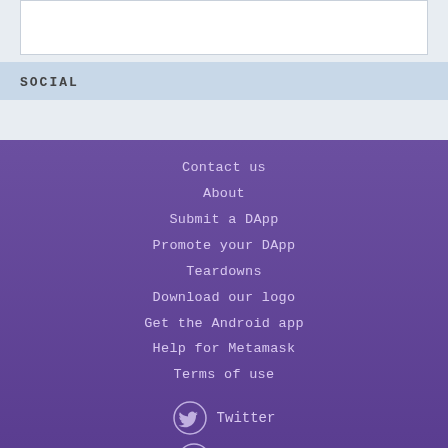SOCIAL
Contact us
About
Submit a DApp
Promote your DApp
Teardowns
Download our logo
Get the Android app
Help for Metamask
Terms of use
Twitter
Reddit
Medium
Telegram